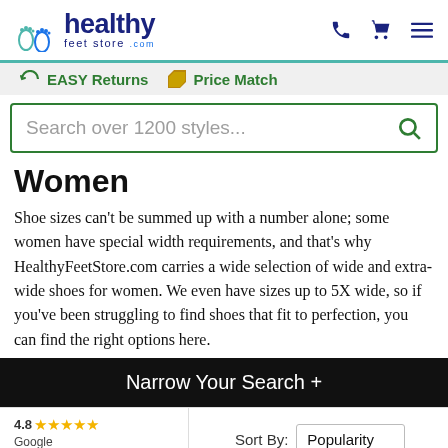[Figure (logo): Healthy Feet Store logo with feet icon and site name]
EASY Returns
Price Match
Search over 1200 styles...
Women
Shoe sizes can't be summed up with a number alone; some women have special width requirements, and that's why HealthyFeetStore.com carries a wide selection of wide and extra-wide shoes for women. We even have sizes up to 5X wide, so if you've been struggling to find shoes that fit to perfection, you can find the right options here.
Narrow Your Search +
4.8 ★★★★★ Google Customer Reviews
Sort By: Popularity